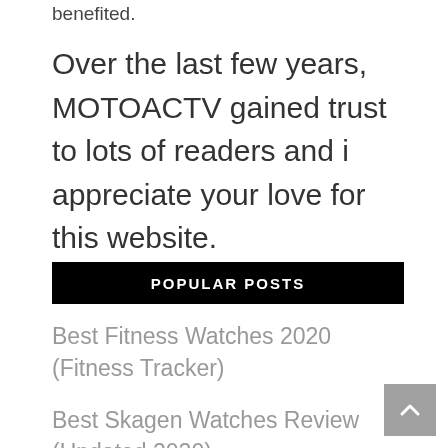benefited.
Over the last few years, MOTOACTV gained trust to lots of readers and i appreciate your love for this website.
POPULAR POSTS
Best Fitness Watches 2020 (Fitness Tracker)
Best Skagen Watches Review (Updated 2020)